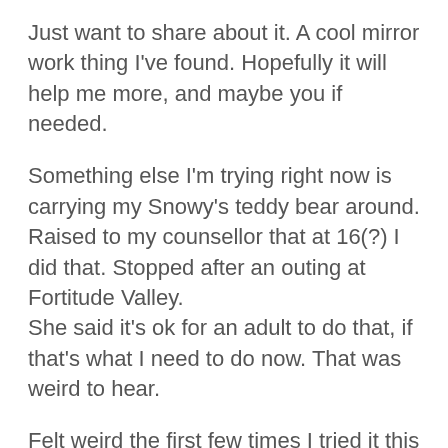Just want to share about it. A cool mirror work thing I've found. Hopefully it will help me more, and maybe you if needed.
Something else I'm trying right now is carrying my Snowy's teddy bear around. Raised to my counsellor that at 16(?) I did that. Stopped after an outing at Fortitude Valley.
She said it's ok for an adult to do that, if that's what I need to do now. That was weird to hear.
Felt weird the first few times I tried it this year. Moments of nice. Right now, this morning, it just feels nice to have my teddy